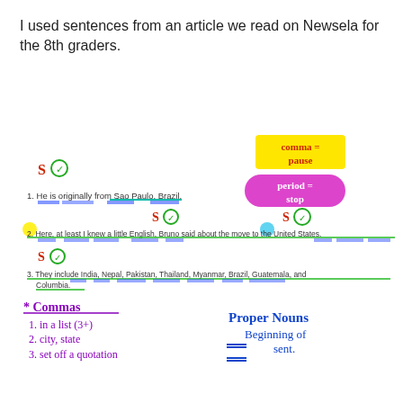I used sentences from an article we read on Newsela for the 8th graders.
[Figure (illustration): Handwritten classroom grammar lesson showing three example sentences with annotations. Sentence 1: 'He is originally from Sao Paulo, Brazil.' with S and checkmark labels and underlines. Sentence 2: 'Here, at least I knew a little English, Bruno said about the move to the United States.' with S and checkmark labels. Sentence 3: 'They include India, Nepal, Pakistan, Thailand, Myanmar, Brazil, Guatemala, and Columbia.' with S and checkmark label. Yellow sticky note reads 'comma = pause'. Pink/magenta badge reads 'period = stop'. Handwritten notes in purple: '* Commas 1. in a list (3+) 2. city, state 3. set off a quotation'. Handwritten notes in blue: 'Proper Nouns Beginning of sent.' with double underline symbols.]